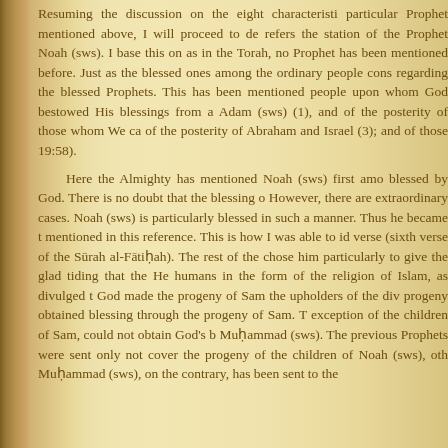Resuming the discussion on the eight characteristicsparticular Prophet mentioned above, I will proceed to de refers the station of the Prophet Noah (sws). I base this on as in the Torah, no Prophet has been mentioned before. Just as the blessed ones among the ordinary people cons regarding the blessed Prophets. This has been mentioned people upon whom God bestowed His blessings from a Adam (sws) (1), and of the posterity of those whom We ca of the posterity of Abraham and Israel (3); and of those 19:58).

Here the Almighty has mentioned Noah (sws) first amo blessed by God. There is no doubt that the blessing o However, there are extraordinary cases. Noah (sws) is particularly blessed in such a manner. Thus he became t mentioned in this reference. This is how I was able to id verse (sixth verse of the Sūrah al-Fātiḥah). The rest of the chose him particularly to give the glad tiding that the He humans in the form of the religion of Islam, as divulged t God made the progeny of Sam the upholders of the div progeny obtained blessing through the progeny of Sam. T exception of the children of Sam, could not obtain God's b Muḥammad (sws). The previous Prophets were sent only not cover the progeny of the children of Noah (sws), oth Muḥammad (sws), on the contrary, has been sent to the